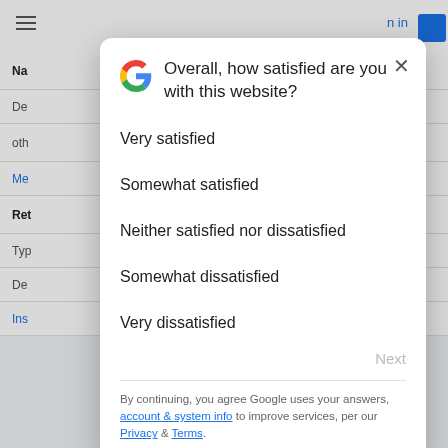[Figure (screenshot): Google survey modal dialog asking 'Overall, how satisfied are you with this website?' with satisfaction options and footer links]
Overall, how satisfied are you with this website?
Very satisfied
Somewhat satisfied
Neither satisfied nor dissatisfied
Somewhat dissatisfied
Very dissatisfied
Next
By continuing, you agree Google uses your answers, account & system info to improve services, per our Privacy & Terms.